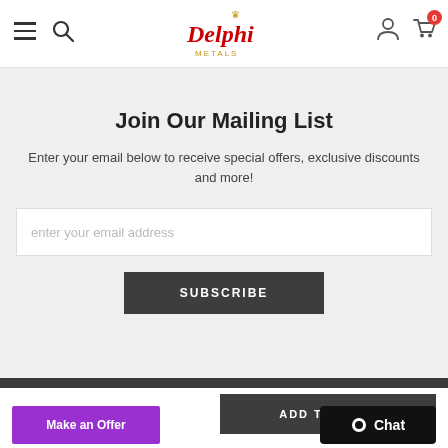Delphi Metals - navigation header with hamburger menu, search, logo, user account, and cart (0 items)
Join Our Mailing List
Enter your email below to receive special offers, exclusive discounts and more!
enter your email address
SUBSCRIBE
ADD TO CART
Make an Offer
Chat